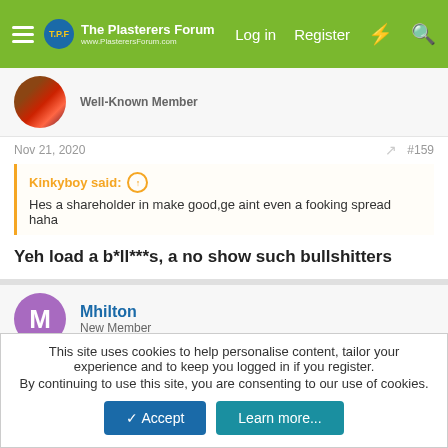The Plasterers Forum — Log in | Register
Well-Known Member
Nov 21, 2020  #159
Kinkyboy said: ↑
Hes a shareholder in make good,ge aint even a fooking spread haha
Yeh load a b*ll***s, a no show such bullshitters
Mhilton
New Member
Nov 21, 2020  #160
This site uses cookies to help personalise content, tailor your experience and to keep you logged in if you register.
By continuing to use this site, you are consenting to our use of cookies.